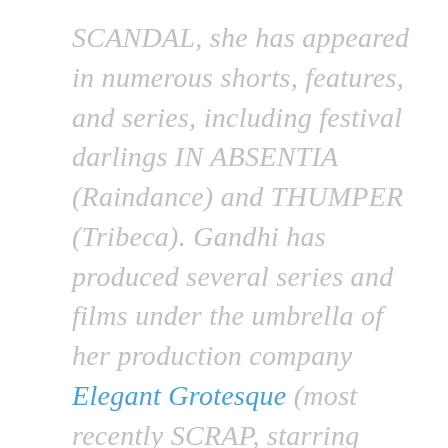SCANDAL, she has appeared in numerous shorts, features, and series, including festival darlings IN ABSENTIA (Raindance) and THUMPER (Tribeca). Gandhi has produced several series and films under the umbrella of her production company Elegant Grotesque (most recently SCRAP, starring Anthony Rapp and Vivian Kerr, and Noel Gallagher's High Flying Birds' STRANDED ON THE EARTH, directed by Mike Bruce). She is also 1/2 of the musical duo, VATAVARAN, was born in England, raised all over the states, studied English and Women's Studies, and trained at the American Conservatory Theatre